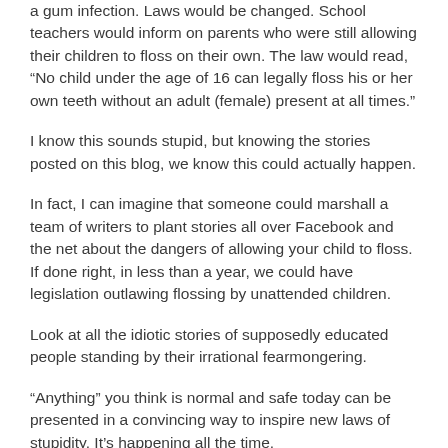a gum infection. Laws would be changed. School teachers would inform on parents who were still allowing their children to floss on their own. The law would read, “No child under the age of 16 can legally floss his or her own teeth without an adult (female) present at all times.”
I know this sounds stupid, but knowing the stories posted on this blog, we know this could actually happen.
In fact, I can imagine that someone could marshall a team of writers to plant stories all over Facebook and the net about the dangers of allowing your child to floss. If done right, in less than a year, we could have legislation outlawing flossing by unattended children.
Look at all the idiotic stories of supposedly educated people standing by their irrational fearmongering.
“Anything” you think is normal and safe today can be presented in a convincing way to inspire new laws of stupidity. It’s happening all the time.
Of course the new anti-flossing laws would inspire political factions for and against flossing, investigations into the big